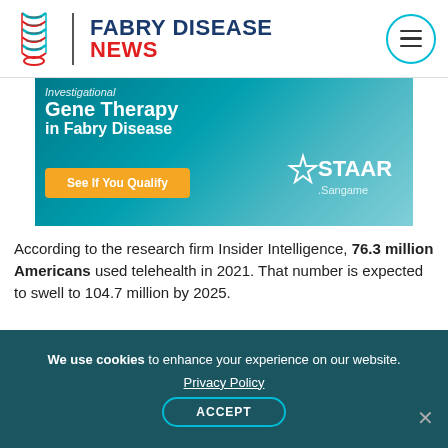[Figure (logo): Fabry Disease News logo with DNA helix icon, teal divider, and brand text in dark blue and red]
[Figure (photo): Advertisement banner: Investigational Gene Therapy in Fabry Disease with orange 'See If You Qualify' button and STAAR Sangame logo on teal background]
According to the research firm Insider Intelligence, 76.3 million Americans used telehealth in 2021. That number is expected to swell to 104.7 million by 2025.
[Figure (photo): Partial photo of an animal (possibly a horse) outdoors with green foliage background, partially shown on left side]
“That is a genie that is
We use cookies to enhance your experience on our website. Privacy Policy ACCEPT